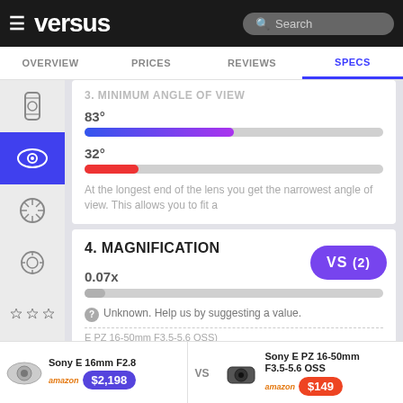versus — Search
OVERVIEW  PRICES  REVIEWS  SPECS
3. MINIMUM ANGLE OF VIEW
83°
[Figure (bar-chart): 83° bar]
32°
[Figure (bar-chart): 32° bar]
At the longest end of the lens you get the narrowest angle of view. This allows you to fit a
4. MAGNIFICATION
0.07x
[Figure (bar-chart): 0.07x bar]
Unknown. Help us by suggesting a value.
E PZ 16-50mm F3.5-5.6 OSS)
VS (2)
Sony E 16mm F2.8
$2,198
Sony E PZ 16-50mm F3.5-5.6 OSS
$149